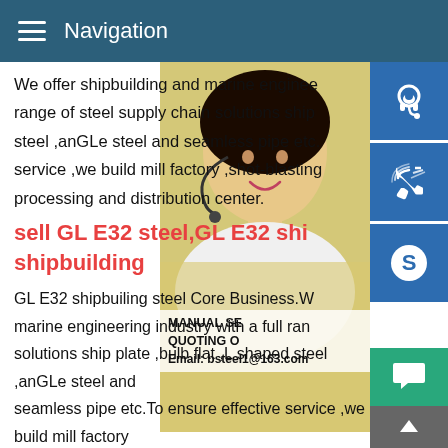Navigation
We offer shipbuilding and marine engineering range of steel supply chain solutions ship steel ,anGLe steel and seamless pipe etc. service ,we build mill factory ,shot-blasting processing and distribution center.
[Figure (photo): Woman with headset customer service representative photo, with teal/blue customer service icons on the right side (headset, phone, Skype), and MANUAL SERVICE / QUOTING O / Email: bsteel1@163.com overlay text]
sell GL E32 steel,GL E32 ship plate,GL E32 shipbuilding
GL E32 shipbuiling steel Core Business.We offer shipbuilding and marine engineering industry with a full range of steel supply chain solutions ship plate ,bulb flat ,L shaped steel ,anGLe steel and seamless pipe etc.To ensure effective service ,we build mill factory ,shot-blasting line ,steel structure processing and distribution center.sell GL E32 steel,GL E32 ship plate,GL E32 shipbuilding Detailed GL E32 steel Description.GL E32 SHIP plate.thickness: 120mm.width:1500-4020mm.length:3000-18000mm.standard: